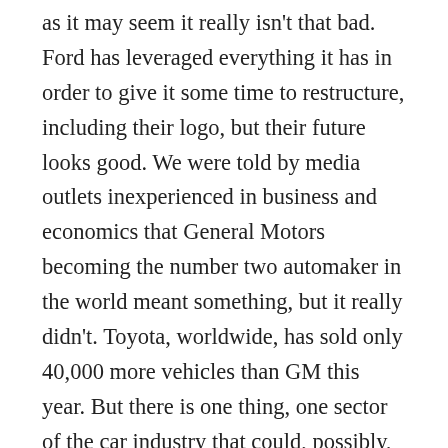as it may seem it really isn't that bad. Ford has leveraged everything it has in order to give it some time to restructure, including their logo, but their future looks good. We were told by media outlets inexperienced in business and economics that General Motors becoming the number two automaker in the world meant something, but it really didn't. Toyota, worldwide, has sold only 40,000 more vehicles than GM this year. But there is one thing, one sector of the car industry that could, possibly, destroy Ford and cripple GM. The large American carmakers, during the 1980's and 1990's, signed contracts with the United Auto Workers which, in effect, turned Ford, GM and Chrysler into Healthcare Providers. Everyone who has worked at the Big Three for the past twenty-seven years gets healthcare benefits until they die. Which means the American car industry is now responsible for the